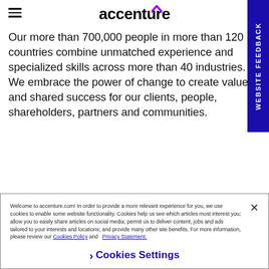accenture
Our more than 700,000 people in more than 120 countries combine unmatched experience and specialized skills across more than 40 industries. We embrace the power of change to create value and shared success for our clients, people, shareholders, partners and communities.
WEBSITE FEEDBACK
Welcome to accenture.com! In order to provide a more relevant experience for you, we use cookies to enable some website functionality. Cookies help us see which articles most interest you; allow you to easily share articles on social media; permit us to deliver content, jobs and ads tailored to your interests and locations; and provide many other site benefits. For more information, please review our Cookies Policy and Privacy Statement.
Cookies Settings